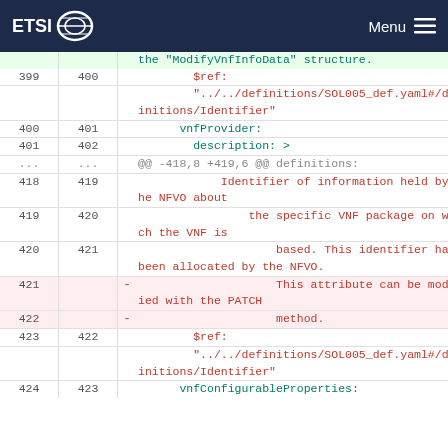ETSI Menu
| old | new |  | code |
| --- | --- | --- | --- |
|  |  |  | the "ModifyVnfInfoData" structure. |
| 399 | 400 |  | $ref: |
|  |  |  | "../../definitions/SOL005_def.yaml#/definitions/Identifier" |
| 400 | 401 |  | vnfProvider: |
| 401 | 402 |  | description: > |
| ... | ... |  | @@ -418,8 +419,6 @@ definitions: |
| 418 | 419 |  | Identifier of information held by the NFVO about |
| 419 | 420 |  | the specific VNF package on which the VNF is |
| 420 | 421 |  | based. This identifier has been allocated by the NFVO. |
| 421 |  | - | This attribute can be modified with the PATCH |
| 422 |  | - | method. |
| 423 | 422 |  | $ref: |
|  |  |  | "../../definitions/SOL005_def.yaml#/definitions/Identifier" |
| 424 | 423 |  | vnfConfigurableProperties: |